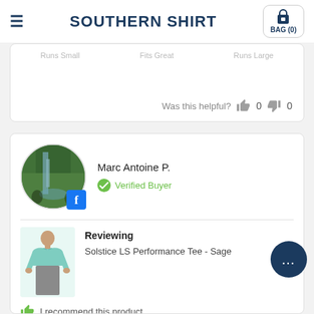SOUTHERN SHIRT  BAG (0)
Runs Small  Fits Great  Runs Large
Was this helpful?  0  0
Marc Antoine P.
Verified Buyer
Reviewing
Solstice LS Performance Tee - Sage
I recommend this product